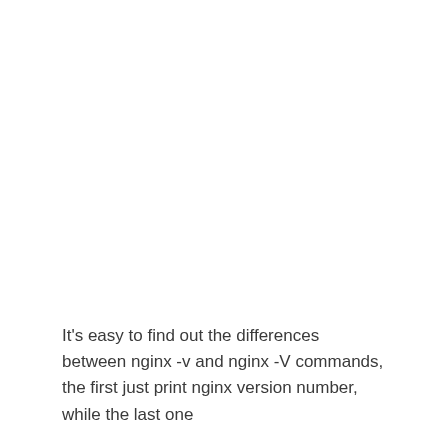It's easy to find out the differences between nginx -v and nginx -V commands, the first just print nginx version number, while the last one